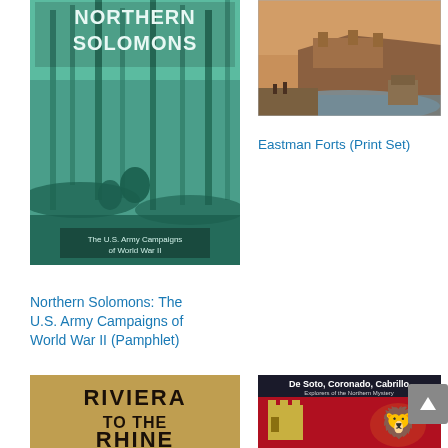[Figure (illustration): Book cover: Northern Solomons – The U.S. Army Campaigns of World War II, teal-tinted jungle battle scene]
[Figure (illustration): Painting of Eastman Forts – fort on a bluff above a river, warm sepia/orange tones]
Eastman Forts (Print Set)
Northern Solomons: The U.S. Army Campaigns of World War II (Pamphlet)
[Figure (illustration): Book cover: Riviera to the Rhine – partial view, dark background with large serif text]
[Figure (illustration): Book cover: De Soto, Coronado, Cabrillo – Explorers of the Northern Mystery, red background with heraldic lion and castle emblem]